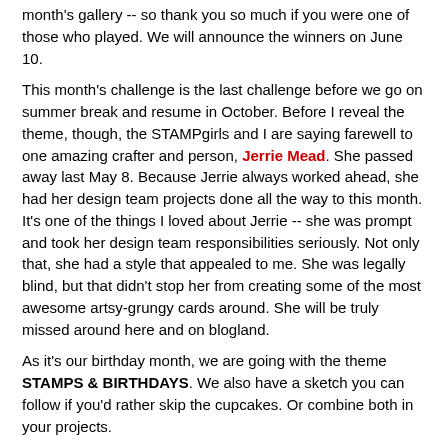month's gallery -- so thank you so much if you were one of those who played. We will announce the winners on June 10.
This month's challenge is the last challenge before we go on summer break and resume in October. Before I reveal the theme, though, the STAMPgirls and I are saying farewell to one amazing crafter and person, Jerrie Mead. She passed away last May 8. Because Jerrie always worked ahead, she had her design team projects done all the way to this month. It's one of the things I loved about Jerrie -- she was prompt and took her design team responsibilities seriously. Not only that, she had a style that appealed to me. She was legally blind, but that didn't stop her from creating some of the most awesome artsy-grungy cards around. She will be truly missed around here and on blogland.
As it's our birthday month, we are going with the theme STAMPS & BIRTHDAYS. We also have a sketch you can follow if you'd rather skip the cupcakes. Or combine both in your projects.
If you play, make sure you include the graphic(s) in your post and link back to this challenge post in order to qualify for our prizes :o) Please also read our simple rules, which you'll find toward the end of this post.
[Figure (logo): STAMPlorations logo with red grunge text reading 'STAMPlorations™', a horizontal line, and subtitle 'JUNE 2019 CHALLENGE' in red, with decorative star elements below.]